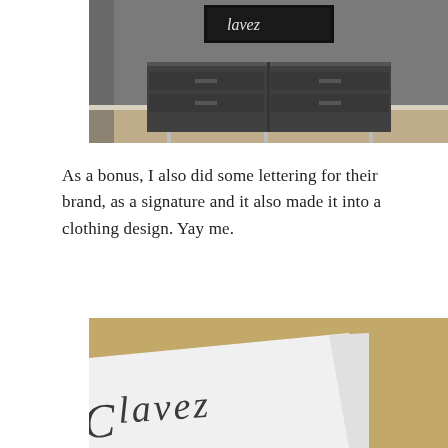[Figure (photo): Interior room photo showing a dark modern dresser/credenza with multiple drawers against a gray wall, with a framed artwork above it and wooden flooring visible below.]
As a bonus, I also did some lettering for their brand, as a signature and it also made it into a clothing design. Yay me.
[Figure (photo): Close-up photo of a white card or paper on a light brown surface showing a cursive/script lettering signature that reads 'Chavez' or similar brand name lettering.]